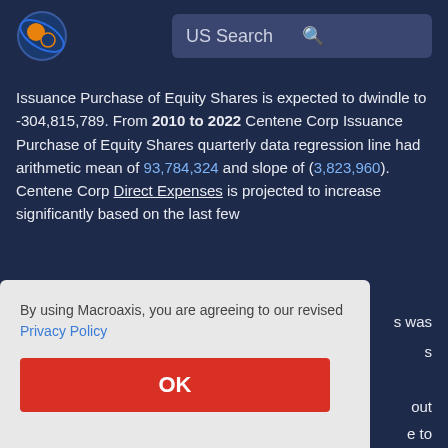US Search
Issuance Purchase of Equity Shares is expected to dwindle to -304,815,789. From 2010 to 2022 Centene Corp Issuance Purchase of Equity Shares quarterly data regression line had arithmetic mean of 93,784,324 and slope of (3,823,960). Centene Corp Direct Expenses is projected to increase significantly based on the last few [years] was [analysis] is about [continue] e to can g
By using Macroaxis, you are agreeing to our revised Privacy Policy
OK
evaluate financial statements to find patterns among Centene [corp data]